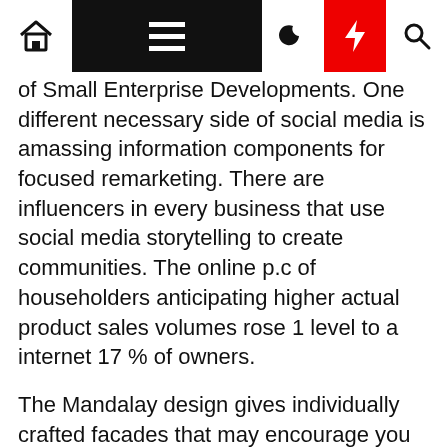Navigation bar with home, menu, moon, lightning, search icons
of Small Enterprise Developments. One different necessary side of social media is amassing information components for focused remarketing. There are influencers in every business that use social media storytelling to create communities. The online p.c of householders anticipating higher actual product sales volumes rose 1 level to a internet 17 % of owners.
The Mandalay design gives individually crafted facades that may encourage you by offering a choice of houses that replicate your private life-style and preferences. Before you start planning a new dwelling or engaged on a house improvement mission, perfect the ground plan and preview any house design idea with DreamPlan home design software program.